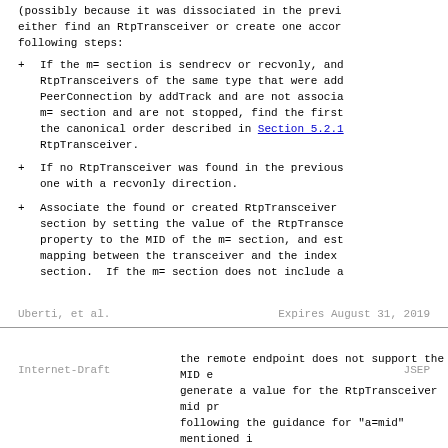(possibly because it was dissociated in the previous session), either find an RtpTransceiver or create one according to the following steps:
If the m= section is sendrecv or recvonly, and there are RtpTransceivers of the same type that were added to the PeerConnection by addTrack and are not associated with an m= section and are not stopped, find the first one in the canonical order described in Section 5.2.1 and use that RtpTransceiver.
If no RtpTransceiver was found in the previous step, create one with a recvonly direction.
Associate the found or created RtpTransceiver with the m= section by setting the value of the RtpTransceiver mid property to the MID of the m= section, and establish a mapping between the transceiver and the index of the m= section.  If the m= section does not include a
Uberti, et al.                 Expires August 31, 2019
Internet-Draft                      JSEP
the remote endpoint does not support the MID extension, generate a value for the RtpTransceiver mid property, following the guidance for "a=mid" mentioned i